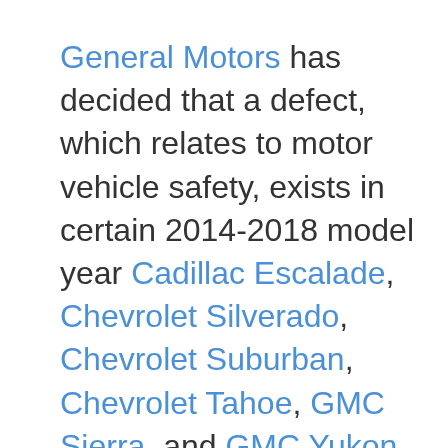General Motors has decided that a defect, which relates to motor vehicle safety, exists in certain 2014-2018 model year Cadillac Escalade, Chevrolet Silverado, Chevrolet Suburban, Chevrolet Tahoe, GMC Sierra, and GMC Yukon vehicles.  As a result, GM is conducting a safety recall.  We apologize for this inconvenience.  However, we are concerned about your safety and continued satisfaction with our products.